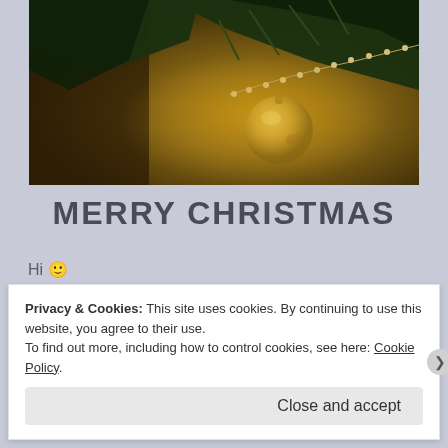[Figure (photo): Christmas tree photo with golden ornament ball and string of pearl beads on branches, warm amber/golden background lighting]
MERRY CHRISTMAS
Hi 🙂

So, Finally It's Christmas 2014.

Taking this day as an opportunity to Thank God for retaining his blessing on us. Thanking each and every individual for helping us in some tricky situations.
Privacy & Cookies: This site uses cookies. By continuing to use this website, you agree to their use.
To find out more, including how to control cookies, see here: Cookie Policy